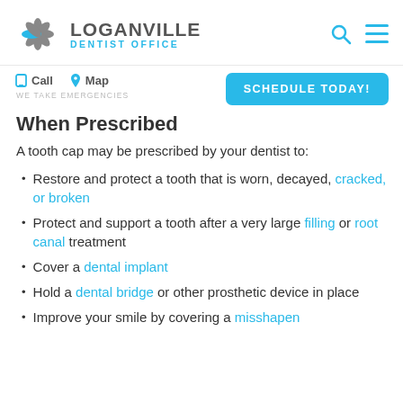[Figure (logo): Loganville Dentist Office logo with starburst/flower icon in grey and blue]
LOGANVILLE DENTIST OFFICE
Call   Map   WE TAKE EMERGENCIES   SCHEDULE TODAY!
When Prescribed
A tooth cap may be prescribed by your dentist to:
Restore and protect a tooth that is worn, decayed, cracked, or broken
Protect and support a tooth after a very large filling or root canal treatment
Cover a dental implant
Hold a dental bridge or other prosthetic device in place
Improve your smile by covering a misshapen